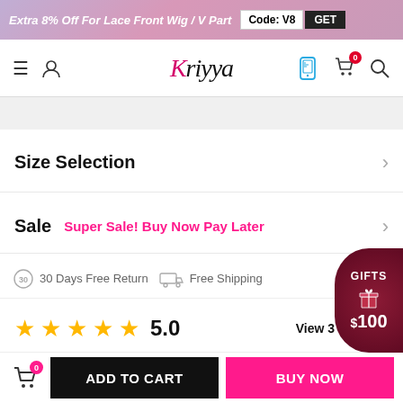Extra 8% Off For Lace Front Wig / V Part  Code: V8  GET
[Figure (logo): Kriyya brand logo with hamburger menu, user icon, phone app icon, cart with badge 0, and search icon]
Size Selection
Sale  Super Sale! Buy Now Pay Later
30 Days Free Return   Free Shipping
5.0   View 3 Reviews
ADD TO CART
BUY NOW